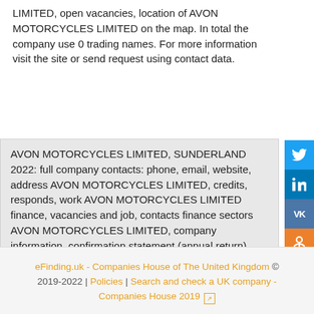LIMITED, open vacancies, location of AVON MOTORCYCLES LIMITED on the map. In total the company use 0 trading names. For more information visit the site or send request using contact data.
AVON MOTORCYCLES LIMITED, SUNDERLAND 2022: full company contacts: phone, email, website, address AVON MOTORCYCLES LIMITED, credits, responds, work AVON MOTORCYCLES LIMITED finance, vacancies and job, contacts finance sectors AVON MOTORCYCLES LIMITED, company information, confirmation statement (annual return), company accounts
eFinding.uk - Companies House of The United Kingdom © 2019-2022 | Policies | Search and check a UK company - Companies House 2019 ↗